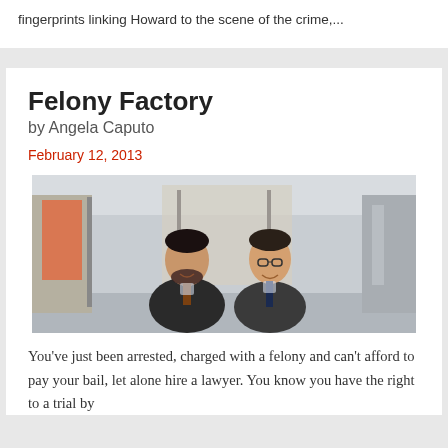fingerprints linking Howard to the scene of the crime,...
Felony Factory
by Angela Caputo
February 12, 2013
[Figure (photo): Two men in suits standing in a hallway, smiling, shaking hands or posing together.]
You’ve just been arrested, charged with a felony and can’t afford to pay your bail, let alone hire a lawyer. You know you have the right to a trial by